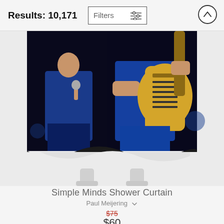Results: 10,171
[Figure (screenshot): E-commerce search results page header with Results: 10,171 text, a Filters button with sliders icon, and an up-arrow scroll button]
[Figure (photo): A shower curtain product displayed on a stand, featuring a painting of two musicians (Simple Minds band) performing on stage with dark background — one singer in blue jacket and one guitarist playing a yellow guitar, both in blue outfits]
Simple Minds Shower Curtain
Paul Meijering
$75
$60